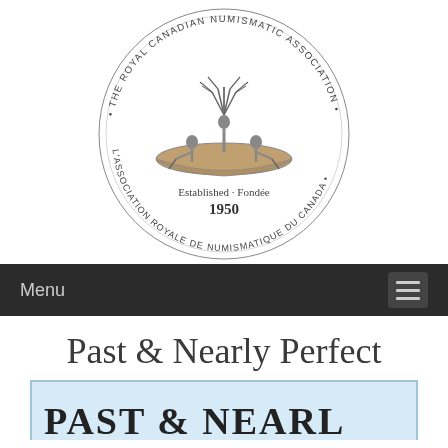[Figure (logo): The Royal Canadian Numismatic Association circular logo featuring people in a canoe, with text 'THE ROYAL CANADIAN NUMISMATIC ASSOCIATION' and 'L'ASSOCIATION ROYALE DE NUMISMATIQUE DU CANADA' around the border, and 'Established · Fondée 1950' at the bottom inside.]
Menu
Past & Nearly Perfect
PAST & NEARL